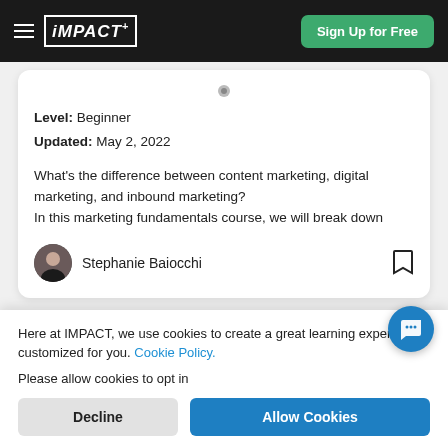iMPACT+ | Sign Up for Free
Level: Beginner
Updated: May 2, 2022
What's the difference between content marketing, digital marketing, and inbound marketing?
In this marketing fundamentals course, we will break down
Stephanie Baiocchi
[Figure (illustration): Second course card peeking from bottom, blue gradient banner]
Here at IMPACT, we use cookies to create a great learning experience customized for you. Cookie Policy.
Please allow cookies to opt in
Decline
Allow Cookies